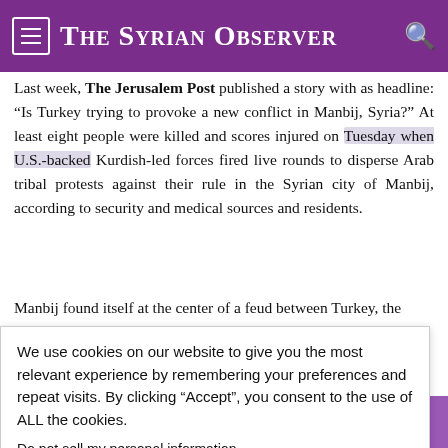The Syrian Observer
Last week, The Jerusalem Post published a story with as headline: “Is Turkey trying to provoke a new conflict in Manbij, Syria?” At least eight people were killed and scores injured on Tuesday when U.S.-backed Kurdish-led forces fired live rounds to disperse Arab tribal protests against their rule in the Syrian city of Manbij, according to security and medical sources and residents.
Manbij found itself at the center of a feud between Turkey, the Syrian Democratic [majority city]. [and the Kurdish] [position]
[A], reports that [province of Aleppo] [sing in the city of] Manbij against the successive presence of SDF militias as well [as the US and Turkish ...]
We use cookies on our website to give you the most relevant experience by remembering your preferences and repeat visits. By clicking “Accept”, you consent to the use of ALL the cookies.
Do not sell my personal information.